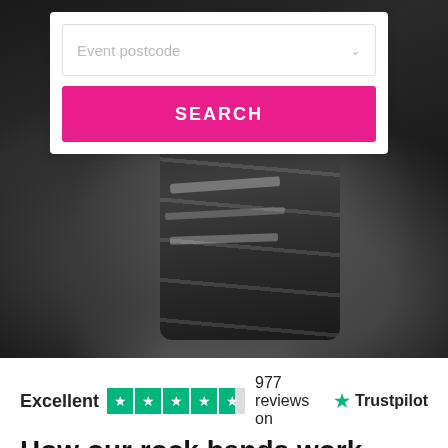[Figure (photo): Black and white photo of ripped jeans on a musician, with dark background showing musical equipment]
Event postcode
SEARCH
Excellent   977 reviews on   Trustpilot
How our rock bands work